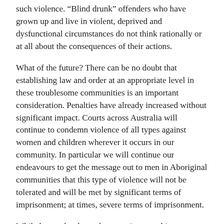such violence. “Blind drunk” offenders who have grown up and live in violent, deprived and dysfunctional circumstances do not think rationally or at all about the consequences of their actions.
What of the future? There can be no doubt that establishing law and order at an appropriate level in these troublesome communities is an important consideration. Penalties have already increased without significant impact. Courts across Australia will continue to condemn violence of all types against women and children wherever it occurs in our community. In particular we will continue our endeavours to get the message out to men in Aboriginal communities that this type of violence will not be tolerated and will be met by significant terms of imprisonment; at times, severe terms of imprisonment.
While law and order and appropriate penalties are important, they do not address the root causes of the violence about